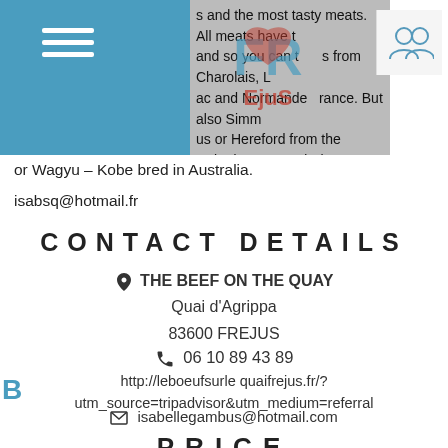s and the most tasty meats. All meats have t and so you can t from Charolais, L ac and Normande rance. But also Simm us or Hereford from the United States and Bl
or Wagyu – Kobe bred in Australia.
isabsq@hotmail.fr
CONTACT DETAILS
THE BEEF ON THE QUAY
Quai d'Agrippa
83600 FREJUS
06 10 89 43 89
http://leboeufsurle quaifrejus.fr/?utm_source=tripadvisor&utm_medium=referral
isabellegambus@hotmail.com
PRICE